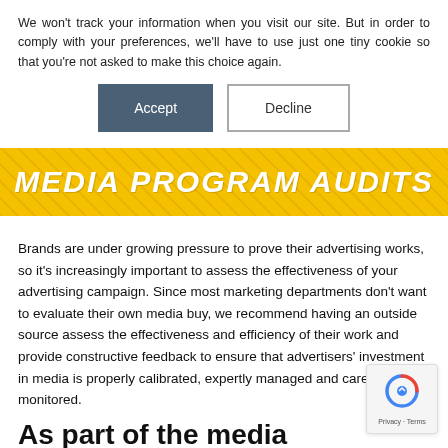We won't track your information when you visit our site. But in order to comply with your preferences, we'll have to use just one tiny cookie so that you're not asked to make this choice again.
Accept | Decline
[Figure (other): Yellow banner with bold italic white text reading 'MEDIA PROGRAM AUDITS' on a gold/yellow background with diagonal line texture]
Brands are under growing pressure to prove their advertising works, so it's increasingly important to assess the effectiveness of your advertising campaign. Since most marketing departments don't want to evaluate their own media buy, we recommend having an outside source assess the effectiveness and efficiency of their work and provide constructive feedback to ensure that advertisers' investment in media is properly calibrated, expertly managed and carefully monitored.
As part of the media